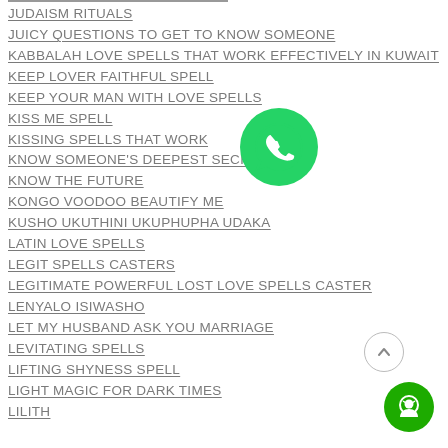JUDAISM RITUALS
JUICY QUESTIONS TO GET TO KNOW SOMEONE
KABBALAH LOVE SPELLS THAT WORK EFFECTIVELY IN KUWAIT
KEEP LOVER FAITHFUL SPELL
KEEP YOUR MAN WITH LOVE SPELLS
KISS ME SPELL
KISSING SPELLS THAT WORK
KNOW SOMEONE'S DEEPEST SECRETS
KNOW THE FUTURE
KONGO VOODOO BEAUTIFY ME
KUSHO UKUTHINI UKUPHUPHA UDAKA
LATIN LOVE SPELLS
LEGIT SPELLS CASTERS
LEGITIMATE POWERFUL LOST LOVE SPELLS CASTER
LENYALO ISIWASHO
LET MY HUSBAND ASK YOU MARRIAGE
LEVITATING SPELLS
LIFTING SHYNESS SPELL
LIGHT MAGIC FOR DARK TIMES
LILITH
[Figure (illustration): Green WhatsApp logo button (circular green background with white phone handset icon)]
[Figure (illustration): Scroll-up arrow button (circular, light border, upward arrow inside) and green circular chat/support button]